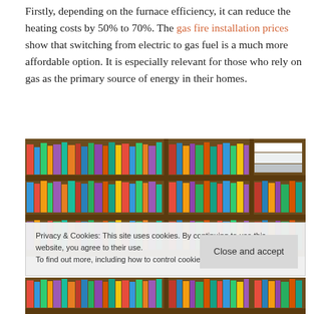Firstly, depending on the furnace efficiency, it can reduce the heating costs by 50% to 70%. The gas fire installation prices show that switching from electric to gas fuel is a much more affordable option. It is especially relevant for those who rely on gas as the primary source of energy in their homes.
[Figure (photo): Photo of a wooden bookshelf filled with many colorful books arranged on multiple shelves]
Privacy & Cookies: This site uses cookies. By continuing to use this website, you agree to their use.
To find out more, including how to control cookies, see here: Cookie Policy
[Figure (photo): Partial photo of a bookshelf at the bottom of the page]